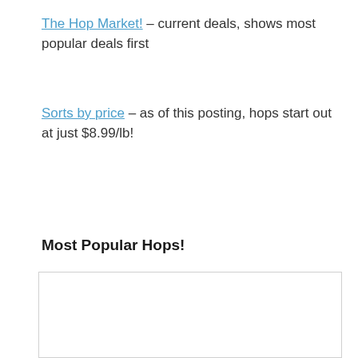The Hop Market! – current deals, shows most popular deals first
Sorts by price – as of this posting, hops start out at just $8.99/lb!
Most Popular Hops!
[Figure (other): Empty white box/placeholder for an embedded content widget or image]